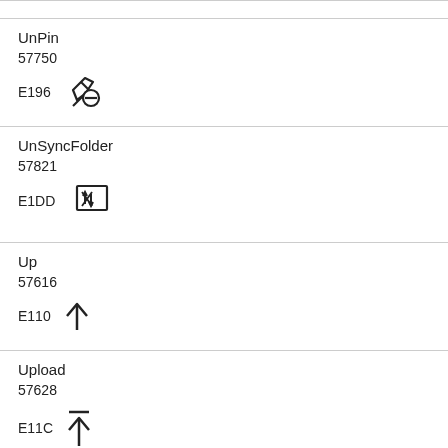| UnPin | 57750 | E196 | [unpin icon] |
| UnSyncFolder | 57821 | E1DD | [unsynfolder icon] |
| Up | 57616 | E110 | [up arrow icon] |
| Upload | 57628 | E11C | [upload icon] |